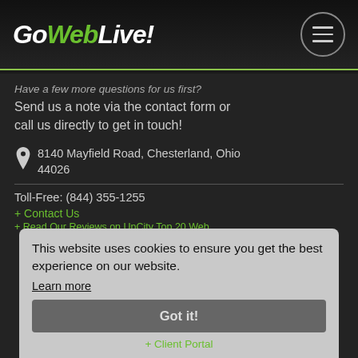GoWebLive!
Have a few more questions for us first? Send us a note via the contact form or call us directly to get in touch!
8140 Mayfield Road, Chesterland, Ohio 44026
Toll-Free: (844) 355-1255
+ Contact Us
+ Read Our Reviews on UpCity Top 20 Web Designer Cleveland
+ Client Portal
This website uses cookies to ensure you get the best experience on our website.
Learn more
Got it!